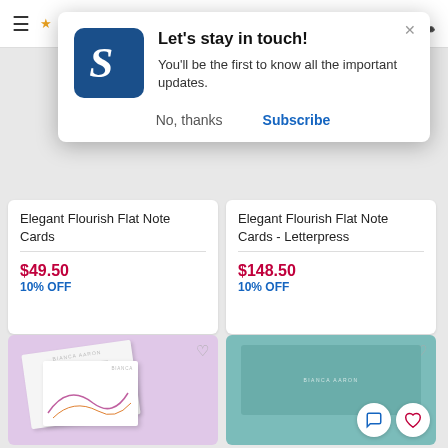Navigation bar with hamburger menu and phone icon
[Figure (screenshot): Popup modal: Let's stay in touch! with logo, subscribe/no thanks buttons]
Elegant Flourish Flat Note Cards
$49.50
10% OFF
Elegant Flourish Flat Note Cards - Letterpress
$148.50
10% OFF
[Figure (photo): Pink background with white notecards featuring elegant flourish design]
[Figure (photo): Teal background with teal notecard, chat and heart action buttons]